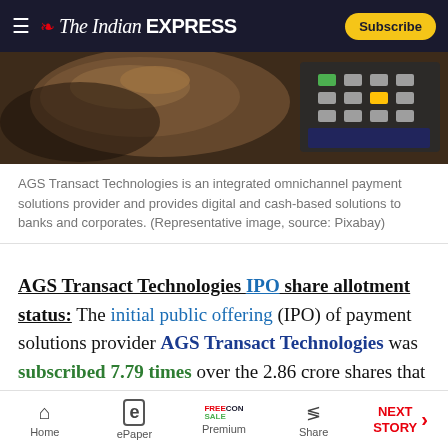The Indian EXPRESS | Subscribe
[Figure (photo): Close-up photo of a hand pressing buttons on an ATM keypad with green and yellow keys visible]
AGS Transact Technologies is an integrated omnichannel payment solutions provider and provides digital and cash-based solutions to banks and corporates. (Representative image, source: Pixabay)
AGS Transact Technologies IPO share allotment status: The initial public offering (IPO) of payment solutions provider AGS Transact Technologies was subscribed 7.79 times over the 2.86 crore shares that were on offer during the subscription period from January 19-21, 2022. The price band
Home | ePaper | Premium | Share | NEXT STORY